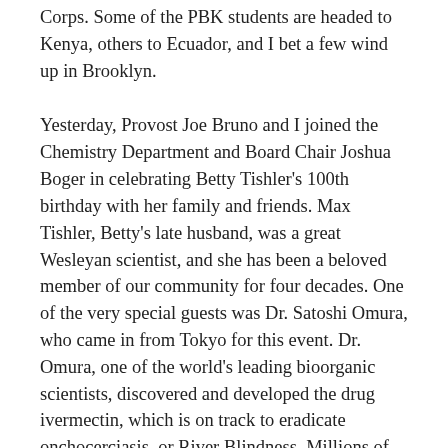Corps. Some of the PBK students are headed to Kenya, others to Ecuador, and I bet a few wind up in Brooklyn.
Yesterday, Provost Joe Bruno and I joined the Chemistry Department and Board Chair Joshua Boger in celebrating Betty Tishler's 100th birthday with her family and friends. Max Tishler, Betty's late husband, was a great Wesleyan scientist, and she has been a beloved member of our community for four decades. One of the very special guests was Dr. Satoshi Omura, who came in from Tokyo for this event. Dr. Omura, one of the world's leading bioorganic scientists, discovered and developed the drug ivermectin, which is on track to eradicate onchocerciasis, or River Blindness. Millions of people across the globe